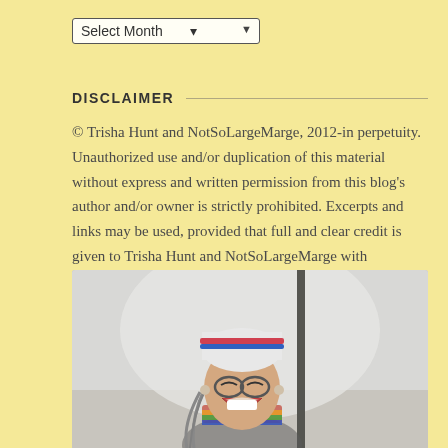Select Month
DISCLAIMER
© Trisha Hunt and NotSoLargeMarge, 2012-in perpetuity. Unauthorized use and/or duplication of this material without express and written permission from this blog's author and/or owner is strictly prohibited. Excerpts and links may be used, provided that full and clear credit is given to Trisha Hunt and NotSoLargeMarge with appropriate and specific direction to the original content.
[Figure (photo): A person wearing a knit hat and glasses, laughing outdoors in what appears to be winter or cold weather, with a white/grey background.]